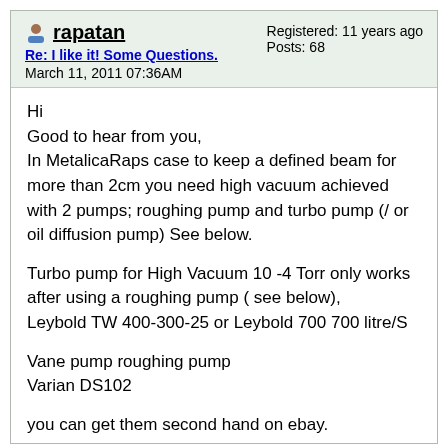rapatan
Re: I like it! Some Questions.
March 11, 2011 07:36AM
Registered: 11 years ago
Posts: 68
Hi
Good to hear from you,
In MetalicaRaps case to keep a defined beam for more than 2cm you need high vacuum achieved with 2 pumps; roughing pump and turbo pump (/ or oil diffusion pump) See below.

Turbo pump for High Vacuum 10 -4 Torr only works after using a roughing pump ( see below),
Leybold TW 400-300-25 or Leybold 700 700 litre/S

Vane pump roughing pump
Varian DS102

you can get them second hand on ebay.

For X-ray issues see [www.icrp.org] cover most aspects,
see for ebeam melting applicationreprap sls vs ebm discussion